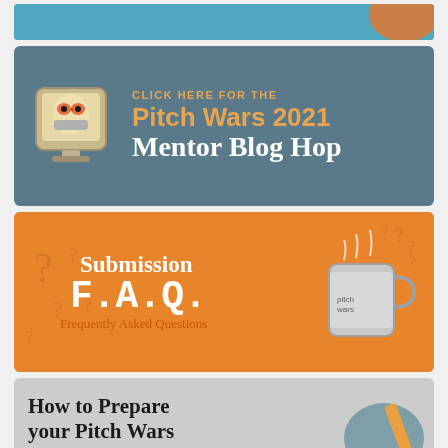[Figure (illustration): Partial blue banner at the top of the page, cropped, showing a teal/blue background]
[Figure (infographic): Pitch Wars 2021 Mentor Blog Hop banner. Teal/slate background with a cartoon character (masked owl/bird on a computer monitor) on the left. Text reads: CLICK HERE FOR THE Pitch Wars 2021 Mentor Blog Hop]
[Figure (infographic): Orange banner with white text reading: Submission F.A.Q. Frequently Asked Questions. Decorative question marks and a mug illustration surround the text.]
[Figure (illustration): Gray banner partially visible at the bottom. Text reads: How to Prepare your Pitch Wars Submission (partially cropped). Shows a hand with pencil illustration on the right.]